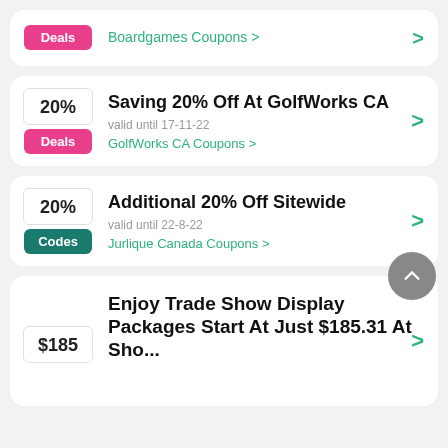Boardgames Coupons >
Saving 20% Off At GolfWorks CA — valid until 17-11-22 — GolfWorks CA Coupons >
Additional 20% Off Sitewide — valid until 22-8-22 — Jurlique Canada Coupons >
Enjoy Trade Show Display Packages Start At Just $185.31 At Sho...